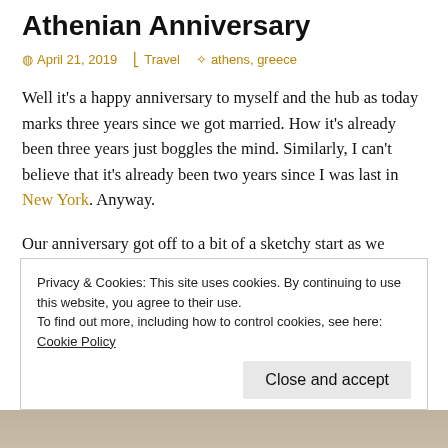Athenian Anniversary
April 21, 2019  Travel  athens, greece
Well it's a happy anniversary to myself and the hub as today marks three years since we got married. How it's already been three years just boggles the mind. Similarly, I can't believe that it's already been two years since I was last in New York. Anyway.
Our anniversary got off to a bit of a sketchy start as we ventured across the city to purchase our bus tickets to Delphi. The coach station is in an interesting part of the city full of auto mechanics and a lot of graffiti (more so
Privacy & Cookies: This site uses cookies. By continuing to use this website, you agree to their use.
To find out more, including how to control cookies, see here: Cookie Policy
[Figure (photo): Bottom strip showing partial photo, appears to be a travel photograph]